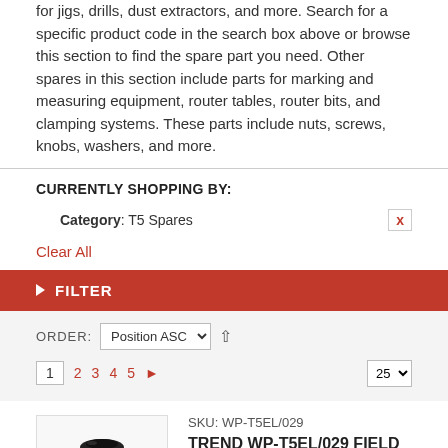for jigs, drills, dust extractors, and more. Search for a specific product code in the search box above or browse this section to find the spare part you need. Other spares in this section include parts for marking and measuring equipment, router tables, router bits, and clamping systems. These parts include nuts, screws, knobs, washers, and more.
CURRENTLY SHOPPING BY:
Category: T5 Spares
Clear All
FILTER
ORDER: Position ASC
1 2 3 4 5 ▶ 25
[Figure (photo): Product image of TREND WP-T5EL/029 field complete 115V T5E, showing a black and orange circular tool component]
SKU: WP-T5EL/029
TREND WP-T5EL/029 FIELD COMPLETE 115V T5E
£29.95